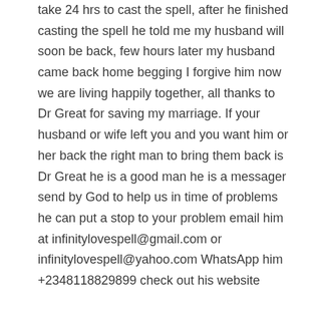take 24 hrs to cast the spell, after he finished casting the spell he told me my husband will soon be back, few hours later my husband came back home begging I forgive him now we are living happily together, all thanks to Dr Great for saving my marriage. If your husband or wife left you and you want him or her back the right man to bring them back is Dr Great he is a good man he is a messager send by God to help us in time of problems he can put a stop to your problem email him at infinitylovespell@gmail.com or infinitylovespell@yahoo.com WhatsApp him +2348118829899 check out his website